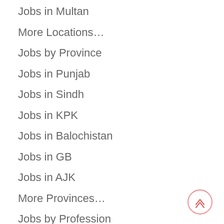Jobs in Multan
More Locations…
Jobs by Province
Jobs in Punjab
Jobs in Sindh
Jobs in KPK
Jobs in Balochistan
Jobs in GB
Jobs in AJK
More Provinces…
Jobs by Profession
Medical Jobs
Engineering Jobs
IT Jobs
Accounting Jobs
Marketing Jobs